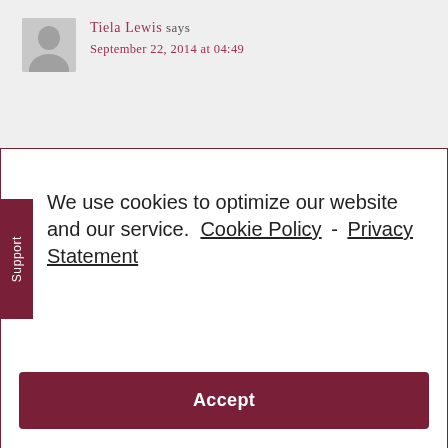Tiela Lewis says
September 22, 2014 at 04:49
We use cookies to optimize our website and our service.  Cookie Policy  -  Privacy Statement
Accept
September 22, 2014 at 08:43
That two minute one does wonders especially when you sit under the dryer